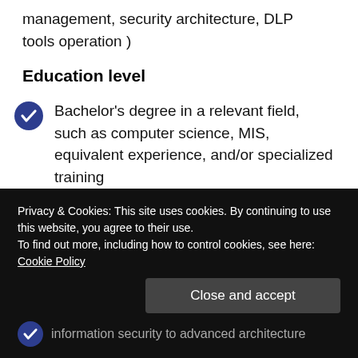management, security architecture, DLP tools operation )
Education level
Bachelor's degree in a relevant field, such as computer science, MIS, equivalent experience, and/or specialized training
Experience with risk assessment methodologies.
Privacy & Cookies: This site uses cookies. By continuing to use this website, you agree to their use.
To find out more, including how to control cookies, see here: Cookie Policy
Close and accept